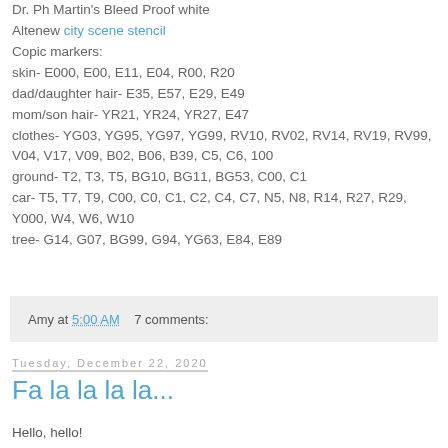Dr. Ph Martin's Bleed Proof white
Altenew city scene stencil
Copic markers:
skin- E000, E00, E11, E04, R00, R20
dad/daughter hair- E35, E57, E29, E49
mom/son hair- YR21, YR24, YR27, E47
clothes- YG03, YG95, YG97, YG99, RV10, RV02, RV14, RV19, RV99, V04, V17, V09, B02, B06, B39, C5, C6, 100
ground- T2, T3, T5, BG10, BG11, BG53, C00, C1
car- T5, T7, T9, C00, C0, C1, C2, C4, C7, N5, N8, R14, R27, R29, Y000, W4, W6, W10
tree- G14, G07, BG99, G94, YG63, E84, E89
Amy at 5:00 AM    7 comments:
Tuesday, December 22, 2020
Fa la la la la...
Hello, hello!